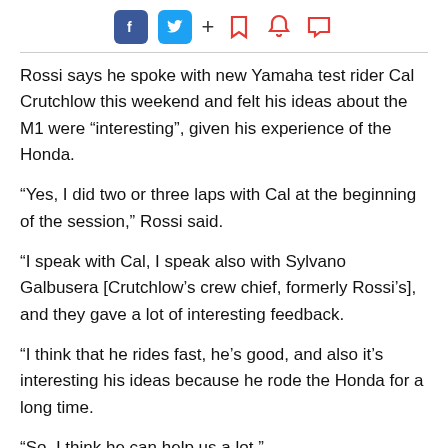Social share icons: Facebook, Twitter, +, bookmark, bell, comment
Rossi says he spoke with new Yamaha test rider Cal Crutchlow this weekend and felt his ideas about the M1 were “interesting”, given his experience of the Honda.
“Yes, I did two or three laps with Cal at the beginning of the session,” Rossi said.
“I speak with Cal, I speak also with Sylvano Galbusera [Crutchlow’s crew chief, formerly Rossi’s], and they gave a lot of interesting feedback.
“I think that he rides fast, he’s good, and also it’s interesting his ideas because he rode the Honda for a long time.
“So, I think he can help us a lot.”